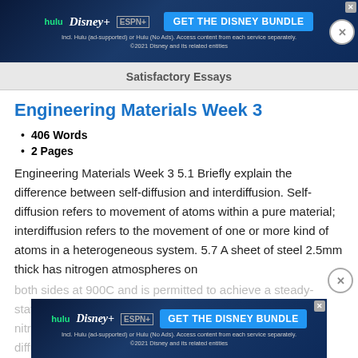[Figure (other): Disney Bundle advertisement banner at top (Hulu, Disney+, ESPN+), GET THE DISNEY BUNDLE CTA button]
Satisfactory Essays
Engineering Materials Week 3
406 Words
2 Pages
Engineering Materials Week 3 5.1 Briefly explain the difference between self-diffusion and interdiffusion. Self-diffusion refers to movement of atoms within a pure material; interdiffusion refers to the movement of one or more kind of atoms in a heterogeneous system. 5.7 A sheet of steel 2.5mm thick has nitrogen atmospheres on both sides at 900C and is permitted to achieve a steady-state diffusion condition. The diffusion coefficient of nitrogen... the diffusion...
[Figure (other): Disney Bundle advertisement banner at bottom (Hulu, Disney+, ESPN+), GET THE DISNEY BUNDLE CTA button]